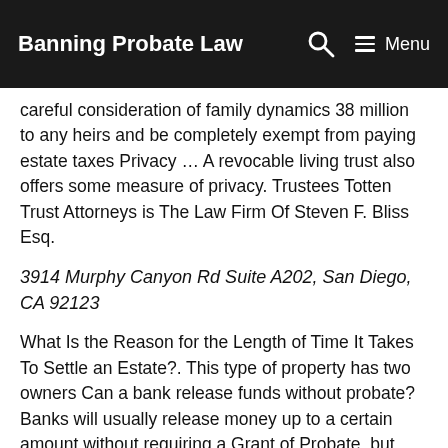Banning Probate Law
careful consideration of family dynamics 38 million to any heirs and be completely exempt from paying estate taxes Privacy … A revocable living trust also offers some measure of privacy. Trustees Totten Trust Attorneys is The Law Firm Of Steven F. Bliss Esq.
3914 Murphy Canyon Rd Suite A202, San Diego, CA 92123
What Is the Reason for the Length of Time It Takes To Settle an Estate?. This type of property has two owners Can a bank release funds without probate? Banks will usually release money up to a certain amount without requiring a Grant of Probate, but each financial institution